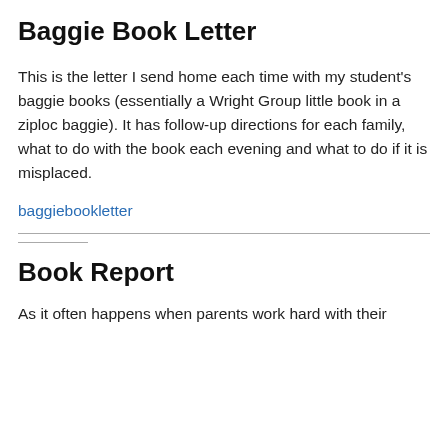Baggie Book Letter
This is the letter I send home each time with my student's baggie books (essentially a Wright Group little book in a ziploc baggie).  It has follow-up directions for each family, what to do with the book each evening and what to do if it is misplaced.
baggiebookletter
Book Report
As it often happens when parents work hard with their